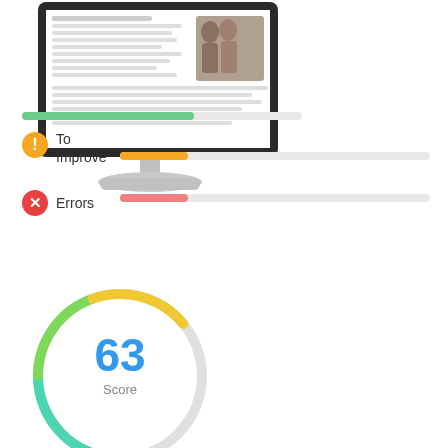[Figure (illustration): Desktop computer monitor showing a webpage with article text and a photo of two people]
[Figure (infographic): Progress bar indicators: green bar for good items (about 62% filled), orange bar for To Improve (about 18% filled), red/pink bar for Errors (about 18% filled). Each bar has an icon on the left - orange warning icon for To Improve, red X icon for Errors. Score gauge circle showing 63 with green-to-yellow arc.]